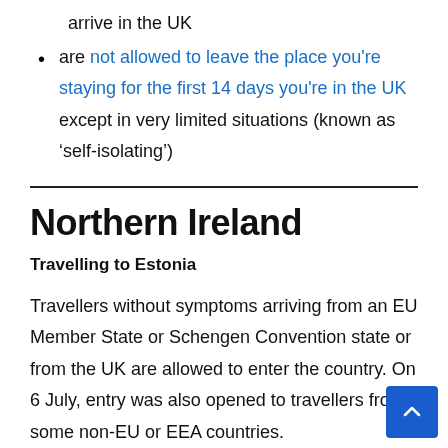arrive in the UK
are not allowed to leave the place you're staying for the first 14 days you're in the UK except in very limited situations (known as 'self-isolating')
Northern Ireland
Travelling to Estonia
Travellers without symptoms arriving from an EU Member State or Schengen Convention state or from the UK are allowed to enter the country. On 6 July, entry was also opened to travellers from some non-EU or EEA countries.